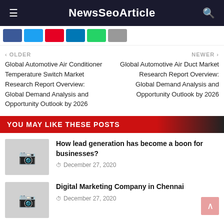NewsSeoArticle
[Figure (other): Social sharing buttons: Facebook, Twitter, Pinterest, LinkedIn, WhatsApp, Email]
< OLDER
Global Automotive Air Conditioner Temperature Switch Market Research Report Overview: Global Demand Analysis and Opportunity Outlook by 2026
NEWER >
Global Automotive Air Duct Market Research Report Overview: Global Demand Analysis and Opportunity Outlook by 2026
YOU MAY LIKE THESE POSTS
How lead generation has become a boon for businesses?
December 27, 2020
Digital Marketing Company in Chennai
December 27, 2020